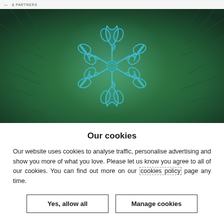& PARTNERS
[Figure (photo): Close-up photo of a blue paper quilling snowflake ornament hanging on a Christmas tree with green pine needles in the background.]
Our cookies
Our website uses cookies to analyse traffic, personalise advertising and show you more of what you love. Please let us know you agree to all of our cookies. You can find out more on our cookies policy page any time.
Yes, allow all
Manage cookies